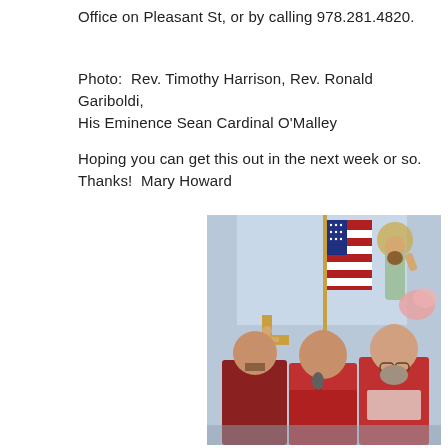Office on Pleasant St, or by calling 978.281.4820.
Photo:  Rev. Timothy Harrison, Rev. Ronald Gariboldi, His Eminence Sean Cardinal O'Malley
Hoping you can get this out in the next week or so. Thanks!  Mary Howard
[Figure (photo): Three clergy members in red vestments participating in a religious ceremony. A person on the left holds a crucifix. The central and right figures stand at a microphone. A religious statue and American flag are visible in the background.]